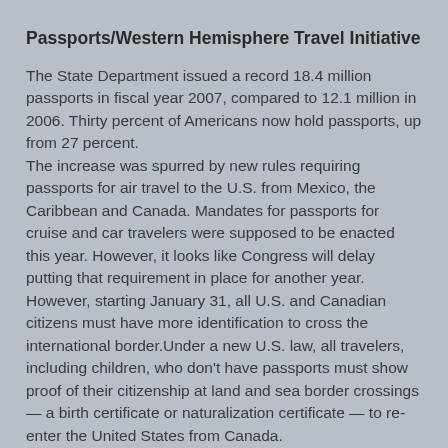Passports/Western Hemisphere Travel Initiative
The State Department issued a record 18.4 million passports in fiscal year 2007, compared to 12.1 million in 2006. Thirty percent of Americans now hold passports, up from 27 percent.
The increase was spurred by new rules requiring passports for air travel to the U.S. from Mexico, the Caribbean and Canada. Mandates for passports for cruise and car travelers were supposed to be enacted this year. However, it looks like Congress will delay putting that requirement in place for another year. However, starting January 31, all U.S. and Canadian citizens must have more identification to cross the international border.Under a new U.S. law, all travelers, including children, who don't have passports must show proof of their citizenship at land and sea border crossings — a birth certificate or naturalization certificate — to re-enter the United States from Canada.
The land/sea passport requirement of the requirement of the Western Hemispheres Travel Initiative will now likely begin in